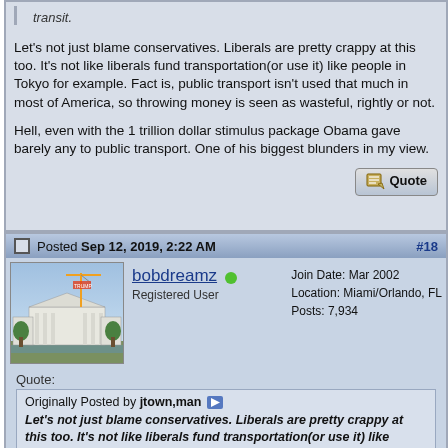transit.
Let's not just blame conservatives. Liberals are pretty crappy at this too. It's not like liberals fund transportation(or use it) like people in Tokyo for example. Fact is, public transport isn't used that much in most of America, so throwing money is seen as wasteful, rightly or not.

Hell, even with the 1 trillion dollar stimulus package Obama gave barely any to public transport. One of his biggest blunders in my view.
Posted Sep 12, 2019, 2:22 AM
bobdreamz
Registered User
Join Date: Mar 2002
Location: Miami/Orlando, FL
Posts: 7,934
Quote:
Originally Posted by jtown,man
Let's not just blame conservatives. Liberals are pretty crappy at this too. It's not like liberals fund transportation(or use it) like people in Tokyo for example.